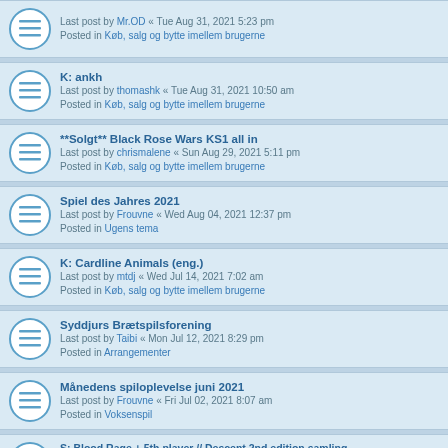Last post by Mr.OD « Tue Aug 31, 2021 5:23 pm
Posted in Køb, salg og bytte imellem brugerne
K: ankh
Last post by thomashk « Tue Aug 31, 2021 10:50 am
Posted in Køb, salg og bytte imellem brugerne
**Solgt** Black Rose Wars KS1 all in
Last post by chrismalene « Sun Aug 29, 2021 5:11 pm
Posted in Køb, salg og bytte imellem brugerne
Spiel des Jahres 2021
Last post by Frouvne « Wed Aug 04, 2021 12:37 pm
Posted in Ugens tema
K: Cardline Animals (eng.)
Last post by mtdj « Wed Jul 14, 2021 7:02 am
Posted in Køb, salg og bytte imellem brugerne
Syddjurs Brætspilsforening
Last post by Taibi « Mon Jul 12, 2021 8:29 pm
Posted in Arrangementer
Månedens spiloplevelse juni 2021
Last post by Frouvne « Fri Jul 02, 2021 8:07 am
Posted in Voksenspil
S: Blood Rage + 5th player // Descent 2nd edition samling
Last post by goldbaek « Thu Jun 17, 2021 8:48 am
Posted in Køb, salg og bytte imellem brugerne
Lukket
Last post by kongaeg « Fri Jun 04, 2021 1:27 am
Posted in Køb, salg og bytte imellem brugerne